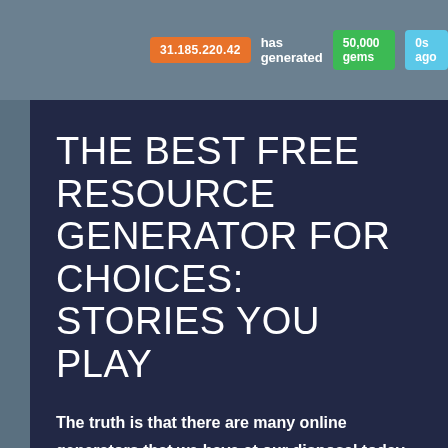31.185.220.42  has generated  50,000 gems  0s ago
THE BEST FREE RESOURCE GENERATOR FOR CHOICES: STORIES YOU PLAY
The truth is that there are many online generators that we have at our disposal today. But that they are free, that you do not need registration, or pay anything,